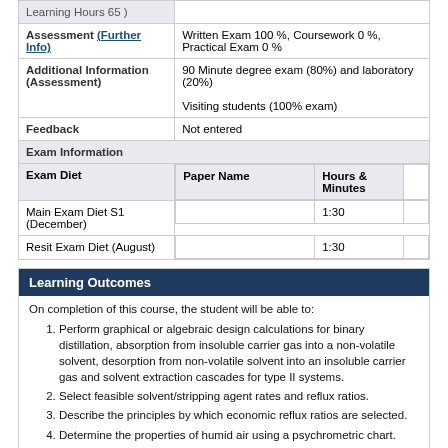|  |  |
| --- | --- |
| Learning Hours 65 |  |
| Assessment (Further Info) | Written Exam 100 %, Coursework 0 %, Practical Exam 0 % |
| Additional Information (Assessment) | 90 Minute degree exam (80%) and laboratory (20%)

Visiting students (100% exam) |
| Feedback | Not entered |
| Exam Information |  |
| Exam Diet | Paper Name | Hours & Minutes |
| Main Exam Diet S1 (December) | | 1:30 |
| Resit Exam Diet (August) | | 1:30 |
Learning Outcomes
On completion of this course, the student will be able to:
Perform graphical or algebraic design calculations for binary distillation, absorption from insoluble carrier gas into a non-volatile solvent, desorption from non-volatile solvent into an insoluble carrier gas and solvent extraction cascades for type II systems.
Select feasible solvent/stripping agent rates and reflux ratios.
Describe the principles by which economic reflux ratios are selected.
Determine the properties of humid air using a psychrometric chart.